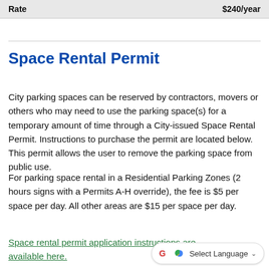| Rate | $240/year |
| --- | --- |
Space Rental Permit
City parking spaces can be reserved by contractors, movers or others who may need to use the parking space(s) for a temporary amount of time through a City-issued Space Rental Permit. Instructions to purchase the permit are located below. This permit allows the user to remove the parking space from public use.
For parking space rental in a Residential Parking Zones (2 hours signs with a Permits A-H override), the fee is $5 per space per day. All other areas are $15 per space per day.
Space rental permit application instructions are available here.